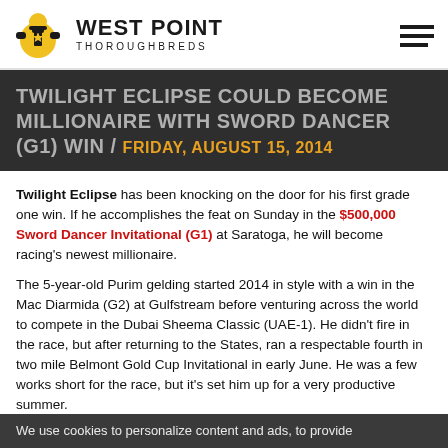WEST POINT THOROUGHBREDS
TWILIGHT ECLIPSE COULD BECOME MILLIONAIRE WITH SWORD DANCER (G1) WIN / FRIDAY, AUGUST 15, 2014
Twilight Eclipse has been knocking on the door for his first grade one win. If he accomplishes the feat on Sunday in the $500,000 Sword Dancer Invitational (G1) at Saratoga, he will become racing's newest millionaire.
The 5-year-old Purim gelding started 2014 in style with a win in the Mac Diarmida (G2) at Gulfstream before venturing across the world to compete in the Dubai Sheema Classic (UAE-1). He didn't fire in the race, but after returning to the States, ran a respectable fourth in two mile Belmont Gold Cup Invitational in early June. He was a few works short for the race, but it's set him up for a very productive summer. Twilight Eclipse has been knocking on the door for his first grade one win. If he accomplishes the feat on Sunday in the $500,000 Sword Dancer Invitational (G1) at Saratoga, he will become racing's newest millionaire.
We use cookies to personalize content and ads, to provide